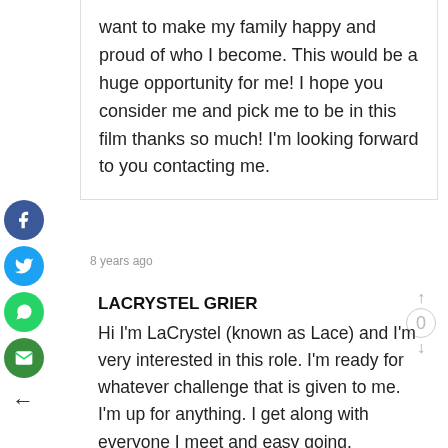want to make my family happy and proud of who I become. This would be a huge opportunity for me! I hope you consider me and pick me to be in this film thanks so much! I'm looking forward to you contacting me.
8 years ago
LACRYSTEL GRIER
Hi I'm LaCrystel (known as Lace) and I'm very interested in this role. I'm ready for whatever challenge that is given to me. I'm up for anything. I get along with everyone I meet and easy going.